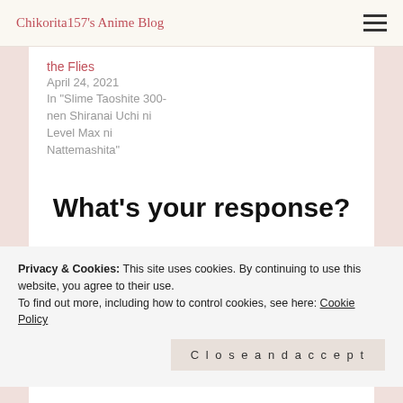Chikorita157's Anime Blog
the Flies
April 24, 2021
In "Slime Taoshite 300-nen Shiranai Uchi ni Level Max ni Nattemashita"
What’s your response?
0 responses
Privacy & Cookies: This site uses cookies. By continuing to use this website, you agree to their use.
To find out more, including how to control cookies, see here: Cookie Policy
Close and accept